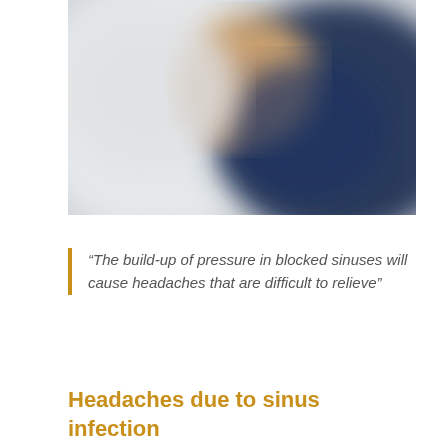[Figure (photo): Blurred/out-of-focus photograph showing a person, with soft tones of white/grey on the left and dark navy blue on the right, with a warm brown skin tone visible in the upper center area.]
“The build-up of pressure in blocked sinuses will cause headaches that are difficult to relieve”
Headaches due to sinus infection